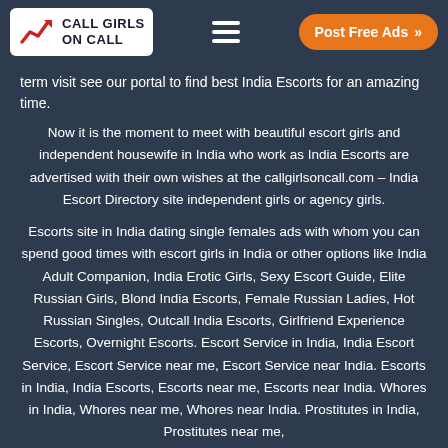CALL GIRLS ON CALL | Post Free Ads
term visit see our portal to find best India Escorts for an amazing time.
Now it is the moment to meet with beautiful escort girls and independent housewife in India who work as India Escorts are advertised with their own wishes at the callgirlsoncall.com – India Escort Directory site independent girls or agency girls.
Escorts site in India dating single females ads with whom you can spend good times with escort girls in India or other options like India Adult Companion, India Erotic Girls, Sexy Escort Guide, Elite Russian Girls, Blond India Escorts, Female Russian Ladies, Hot Russian Singles, Outcall India Escorts, Girlfriend Experience Escorts, Overnight Escorts. Escort Service in India, India Escort Service, Escort Service near me, Escort Service near India. Escorts in India, India Escorts, Escorts near me, Escorts near India. Whores in India, Whores near me, Whores near India. Prostitutes in India, Prostitutes near me, Prostitutes near India. Hookers in India, Hookers near me, Hookers